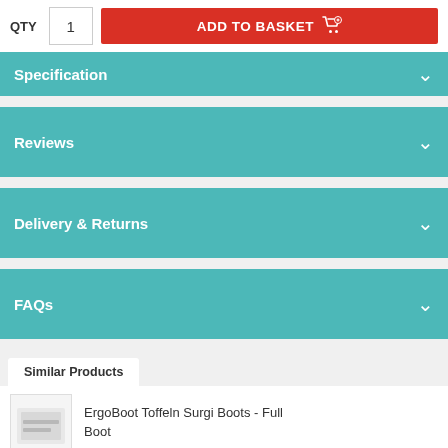QTY  1  ADD TO BASKET
Specification
Reviews
Delivery & Returns
FAQs
Similar Products
ErgoBoot Toffeln Surgi Boots - Full Boot